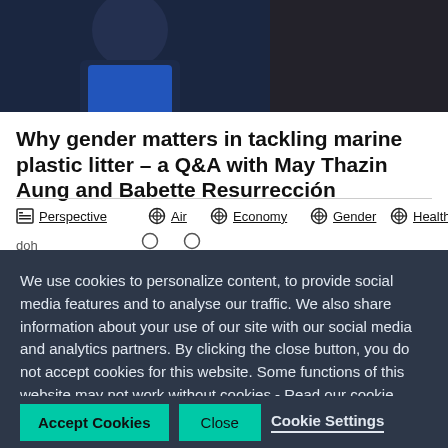[Figure (photo): Top portion of a photo showing a person (partially visible) against a dark background]
Why gender matters in tackling marine plastic litter – a Q&A with May Thazin Aung and Babette Resurrección
Perspective
Air
Economy
Gender
Health
We use cookies to personalize content, to provide social media features and to analyse our traffic. We also share information about your use of our site with our social media and analytics partners. By clicking the close button, you do not accept cookies for this website. Some functions of this website may not work without cookies.- Read our cookie notice
Accept Cookies
Close
Cookie Settings